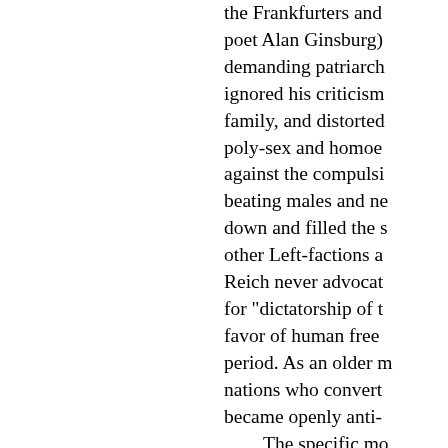the Frankfurters and poet Alan Ginsburg) demanding patriarch ignored his criticism family, and distorted poly-sex and homoe against the compulsi beating males and ne down and filled the s other Left-factions a Reich never advocat for "dictatorship of t favor of human free period. As an older m nations who convert became openly anti- The specific mo of the Frankfurt Gro the 1960s sexual and written by leftist wri While many of the c